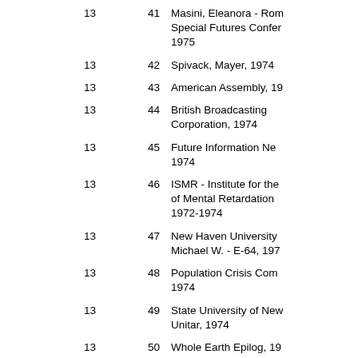| Box | Folder | Description |
| --- | --- | --- |
| 13 | 41 | Masini, Eleanora - Rom Special Futures Confer 1975 |
| 13 | 42 | Spivack, Mayer, 1974 |
| 13 | 43 | American Assembly, 19 |
| 13 | 44 | British Broadcasting Corporation, 1974 |
| 13 | 45 | Future Information Ne 1974 |
| 13 | 46 | ISMR - Institute for the of Mental Retardation 1972-1974 |
| 13 | 47 | New Haven University Michael W. - E-64, 197 |
| 13 | 48 | Population Crisis Com 1974 |
| 13 | 49 | State University of New Unitar, 1974 |
| 13 | 50 | Whole Earth Epilog, 19 |
| 14 | 1 | Addresses supplied to Charles Cargin to help launch the World Rem |